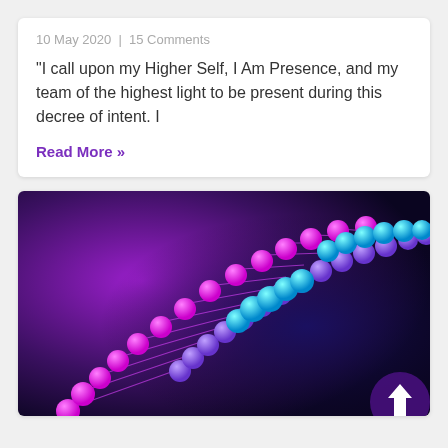10 May 2020 | 15 Comments
“I call upon my Higher Self, I Am Presence, and my team of the highest light to be present during this decree of intent. I
Read More »
[Figure (photo): Glowing DNA double helix strand illustration with pink/magenta and blue/cyan spheres against a dark purple background]